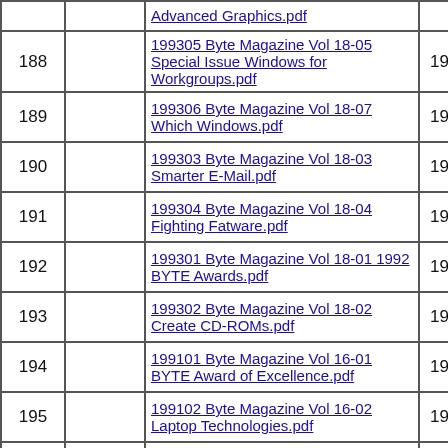| # |  | Title | Year | Date |
| --- | --- | --- | --- | --- |
|  |  | Advanced Graphics.pdf |  | 10-14 |
| 188 |  | 199305 Byte Magazine Vol 18-05 Special Issue Windows for Workgroups.pdf | 1993 | 2018-10-15 |
| 189 |  | 199306 Byte Magazine Vol 18-07 Which Windows.pdf | 1993 | 2018-10-15 |
| 190 |  | 199303 Byte Magazine Vol 18-03 Smarter E-Mail.pdf | 1993 | 2018-10-16 |
| 191 |  | 199304 Byte Magazine Vol 18-04 Fighting Fatware.pdf | 1993 | 2018-10-16 |
| 192 |  | 199301 Byte Magazine Vol 18-01 1992 BYTE Awards.pdf | 1993 | 2018-10-17 |
| 193 |  | 199302 Byte Magazine Vol 18-02 Create CD-ROMs.pdf | 1993 | 2018-10-17 |
| 194 |  | 199101 Byte Magazine Vol 16-01 BYTE Award of Excellence.pdf | 1991 | 2018-10-20 |
| 195 |  | 199102 Byte Magazine Vol 16-02 Laptop Technologies.pdf | 1991 | 2018-10-20 |
| 196 |  | 199103 Byte Magazine Vol 16-03 Network Management.pdf | 1991 | 2018-10-21 |
| 197 |  | 199107 Byte Magazine Vol 16-07 DOS 5.0.pdf | 1991 | 2018-10-21 |
|  |  | 199108 Byte Magazine Vol 16-08 |  | 2018- |